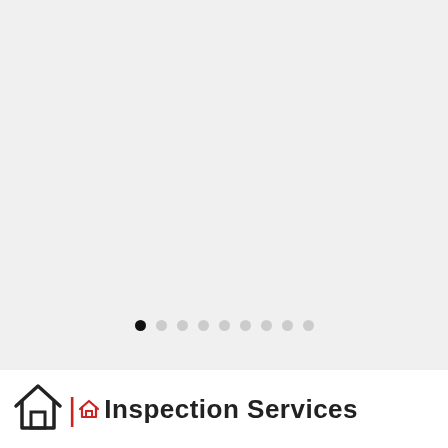[Figure (screenshot): Gray carousel area with navigation dots at bottom. One active black dot followed by eight lighter gray dots indicating a slideshow carousel UI.]
[Figure (logo): Inspection Services LLC logo with a house outline icon and the text 'Inspection Services' in bold dark font, with a red pipe/vertical bar and small house icon before the text.]